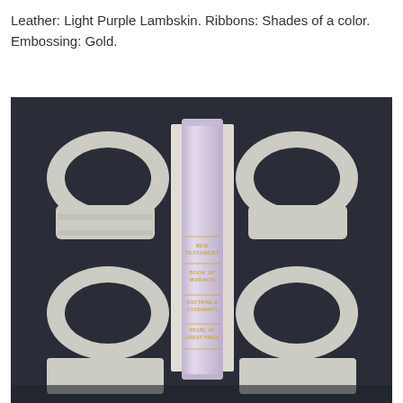Leather: Light Purple Lambskin. Ribbons: Shades of a color. Embossing: Gold.
[Figure (photo): A light purple lambskin leather book (scriptures) standing upright between two white decorative bookends shaped like the letter S. The book spine shows gold embossed text: NEW TESTAMENT, BOOK OF MORMON, DOCTRINE & COVENANTS, PEARL OF GREAT PRICE. The background is dark grey/black.]